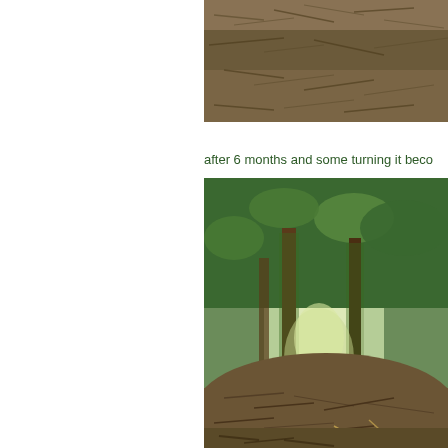[Figure (photo): Close-up photo of mulch/compost material on ground, brown dry organic matter]
after 6 months and some turning it beco
[Figure (photo): Photo of composted mulch pile with trees/shrubs in background, showing decomposed organic material]